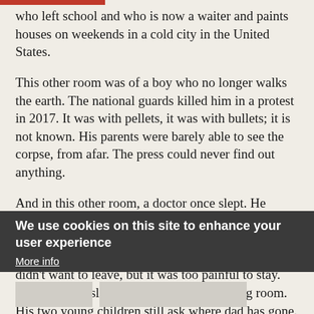who left school and who is now a waiter and paints houses on weekends in a cold city in the United States.
This other room was of a boy who no longer walks the earth. The national guards killed him in a protest in 2017. It was with pellets, it was with bullets; it is not known. His parents were barely able to see the corpse, from afar. The press could never find out anything.
And in this other room, a doctor once slept. He could not keep on watching how his patients suffered, how there were no medicines, how his friends, other doctors, were leaving the country. He didn't want to leave, but it was too painful to stay. His wife now sleeps on the sofa in the living room. His two young children still ask where dad has gone.
We use cookies on this site to enhance your user experience
More info